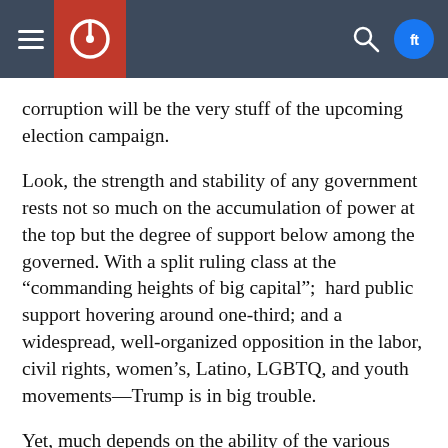[Navigation header with menu icon, site logo, search icon, and social media icons]
corruption will be the very stuff of the upcoming election campaign.
Look, the strength and stability of any government rests not so much on the accumulation of power at the top but the degree of support below among the governed. With a split ruling class at the “commanding heights of big capital”;  hard public support hovering around one-third; and a widespread, well-organized opposition in the labor, civil rights, women’s, Latino, LGBTQ, and youth movements—Trump is in big trouble.
Yet, much depends on the ability of the various components of the people’s movements to forge greater unity around issues as the primaries play